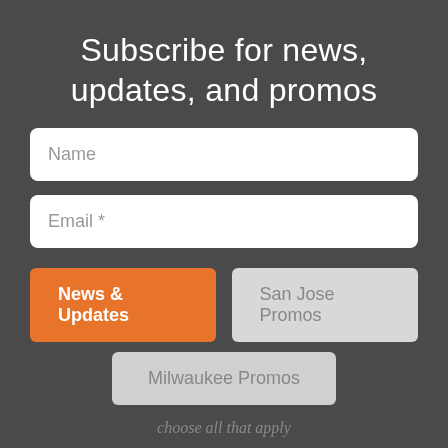Subscribe for news, updates, and promos
Name
Email *
News & Updates
San Jose Promos
Milwaukee Promos
choose all that apply